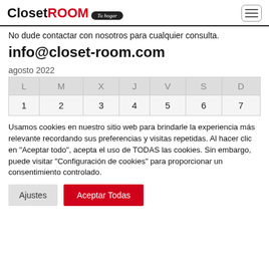ClosetROOM Tu hogar
No dude contactar con nosotros para cualquier consulta.
info@closet-room.com
agosto 2022
| L | M | X | J | V | S | D |
| --- | --- | --- | --- | --- | --- | --- |
| 1 | 2 | 3 | 4 | 5 | 6 | 7 |
Usamos cookies en nuestro sitio web para brindarle la experiencia más relevante recordando sus preferencias y visitas repetidas. Al hacer clic en "Aceptar todo", acepta el uso de TODAS las cookies. Sin embargo, puede visitar "Configuración de cookies" para proporcionar un consentimiento controlado.
Ajustes
Aceptar Todas